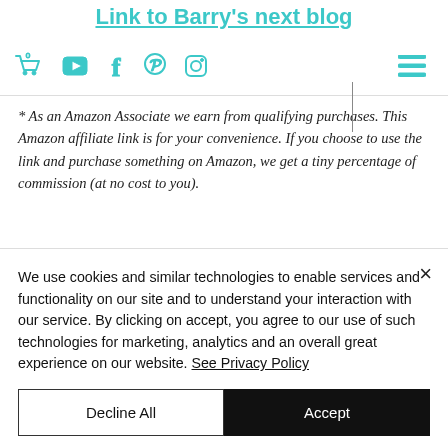Link to Barry's next blog
* As an Amazon Associate we earn from qualifying purchases. This Amazon affiliate link is for your convenience. If you choose to use the link and purchase something on Amazon, we get a tiny percentage of commission (at no cost to you).
We use cookies and similar technologies to enable services and functionality on our site and to understand your interaction with our service. By clicking on accept, you agree to our use of such technologies for marketing, analytics and an overall great experience on our website. See Privacy Policy
Decline All
Accept
Cookie Settings